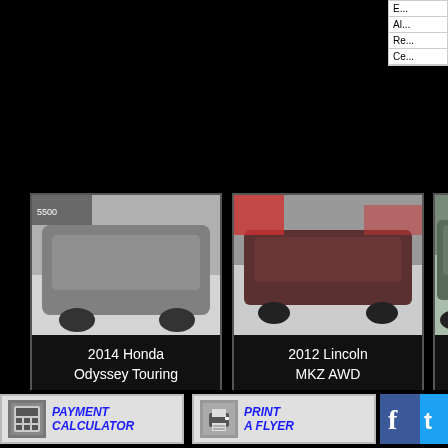E...
Al...
Re...
Ce...
[Figure (photo): 2014 Honda Odyssey Touring van, gray, in parking lot]
2014 Honda Odyssey Touring
214,325 mi.
SOLD
[Figure (photo): 2012 Lincoln MKZ AWD sedan, dark red, in parking lot]
2012 Lincoln MKZ AWD
142,988 mi.
$9,000
[Figure (photo): 2005 Acura MDX Touring, partial view, dark teal]
2005 Acura MDX Touring
368,820 mi.
$2,500
[Figure (screenshot): Payment Calculator button with calculator icon]
[Figure (screenshot): Print A Flyer button with printer icon]
[Figure (screenshot): Facebook and Twitter social media icons]